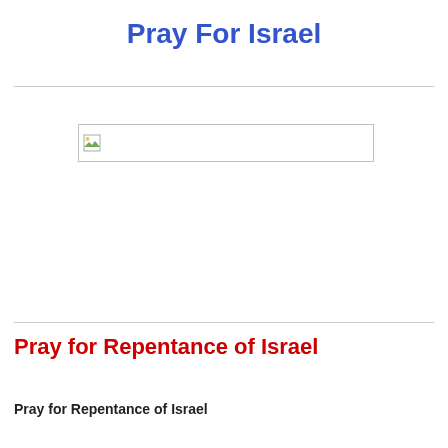Pray For Israel
[Figure (illustration): Broken image placeholder with small image icon on left side, displayed as a wide rectangular box with border]
Pray for Repentance of Israel
Pray for Repentance of Israel